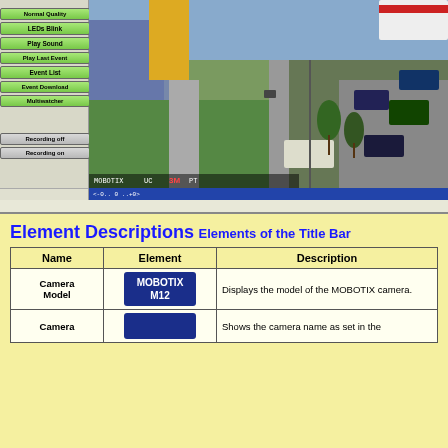[Figure (screenshot): Camera software interface showing a live view from a MOBOTIX camera with a sidebar of control buttons (Normal Quality, LEDs Blink, Play Sound, Play Last Event, Event List, Event Download, Multiwatcher, Recording off, Recording on) and a camera view showing a street/parking area scene with a status bar at the bottom.]
Element Descriptions
Elements of the Title Bar
| Name | Element | Description |
| --- | --- | --- |
| Camera Model | MOBOTIX M12 | Displays the model of the MOBOTIX camera. |
| Camera |  | Shows the camera name as set in the |